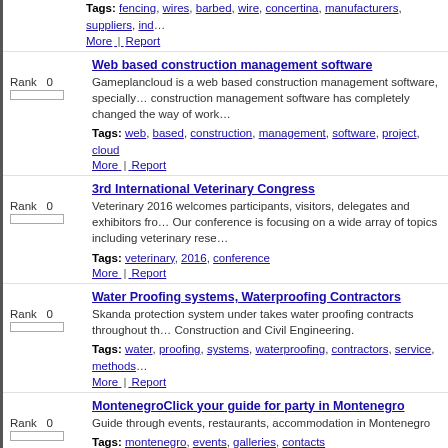Tags: fencing, wires, barbed, wire, concertina, manufacturers, suppliers, ind... More | Report
Web based construction management software
Gameplancloud is a web based construction management software, specially... construction management software has completely changed the way of work...
Tags: web, based, construction, management, software, project, cloud More | Report
3rd International Veterinary Congress
Veterinary 2016 welcomes participants, visitors, delegates and exhibitors fro... Our conference is focusing on a wide array of topics including veterinary rese...
Tags: veterinary, 2016, conference More | Report
Water Proofing systems, Waterproofing Contractors
Skanda protection system under takes water proofing contracts throughout th... Construction and Civil Engineering.
Tags: water, proofing, systems, waterproofing, contractors, service, methods... More | Report
MontenegroClick your guide for party in Montenegro
Guide through events, restaurants, accommodation in Montenegro
Tags: montenegro, events, galleries, contacts More | Report
Enterprise Monkey
Enterprise Monkey is an Australia-based MNC that helps SMEs and NFPs in... introducing automation, optimization and intelligence. We help organizations...
Tags: mobile, app, development, website, business, process, management,... More | Report
nanoscience conferences